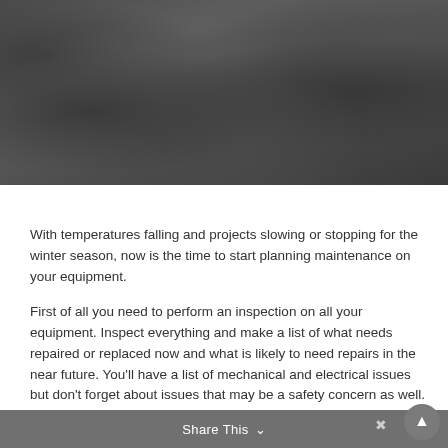[Figure (photo): Dark photograph showing rocks or rough stone surfaces in muted grey tones, partially visible at top of page.]
With temperatures falling and projects slowing or stopping for the winter season, now is the time to start planning maintenance on your equipment.
First of all you need to perform an inspection on all your equipment. Inspect everything and make a list of what needs repaired or replaced now and what is likely to need repairs in the near future. You'll have a list of mechanical and electrical issues but don't forget about issues that may be a safety concern as well.
Share This